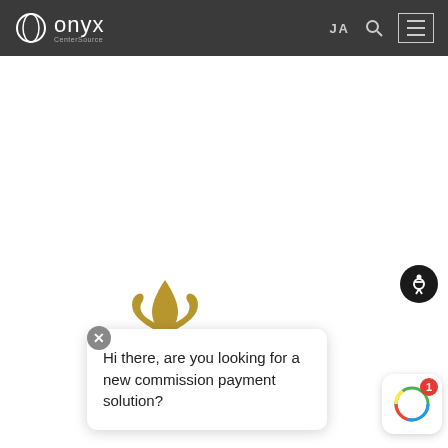[Figure (logo): Onyx CenterSource logo with circular ring icon and wordmark on dark header bar]
JA  🔍  ☰
[Figure (logo): Relais & Chateaux gold fleur-de-lis logo with horizontal lines and text RELAIS &]
[Figure (other): Accessibility icon button - black circle with white wheelchair/person symbol]
[Figure (screenshot): Chat widget close button (X in grey circle)]
Hi there, are you looking for a new commission payment solution?
[Figure (logo): Commission solution widget with colorful ring icon and red badge showing number 1]